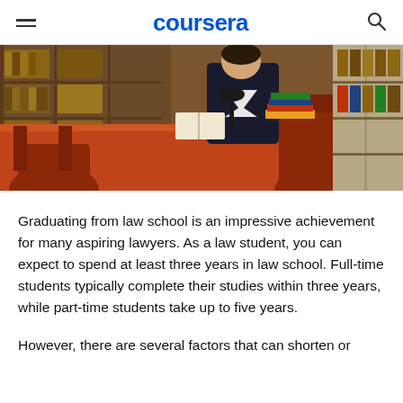coursera
[Figure (photo): A person in a black blazer sitting at a large red conference table in a law library with wooden bookshelves filled with books in the background, with a lamp and stacked books on the table.]
Graduating from law school is an impressive achievement for many aspiring lawyers. As a law student, you can expect to spend at least three years in law school. Full-time students typically complete their studies within three years, while part-time students take up to five years.
However, there are several factors that can shorten or